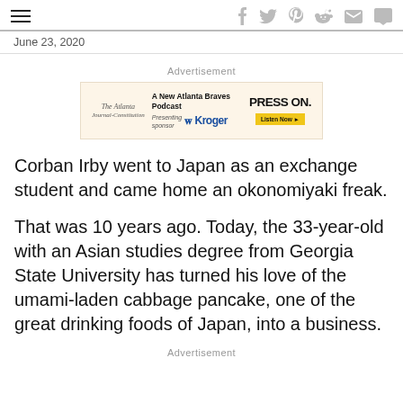— [hamburger menu] [social icons: f, twitter, pinterest, reddit, mail, comment]
June 23, 2020
Advertisement
[Figure (other): Advertisement banner for The Atlanta Journal-Constitution's 'Press On' Atlanta Braves Podcast, with Kroger as presenting sponsor. Yellow 'Listen Now' button.]
Corban Irby went to Japan as an exchange student and came home an okonomiyaki freak.
That was 10 years ago. Today, the 33-year-old with an Asian studies degree from Georgia State University has turned his love of the umami-laden cabbage pancake, one of the great drinking foods of Japan, into a business.
Advertisement